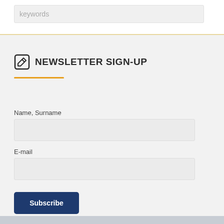keywords
NEWSLETTER SIGN-UP
Name, Surname
E-mail
Subscribe